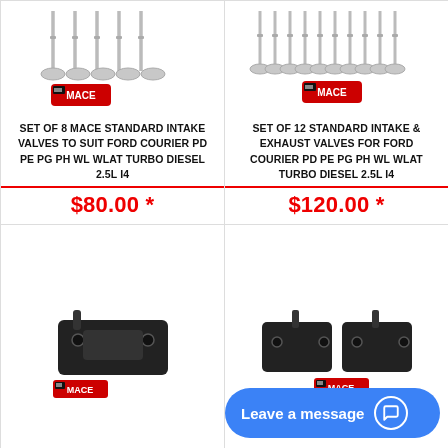[Figure (photo): Set of 8 valve stems with MACE logo badge - intake valves product photo]
SET OF 8 MACE STANDARD INTAKE VALVES TO SUIT FORD COURIER PD PE PG PH WL WLAT TURBO DIESEL 2.5L I4
$80.00 *
[Figure (photo): Set of 12 valve stems with MACE logo badge - intake and exhaust valves product photo]
SET OF 12 STANDARD INTAKE & EXHAUST VALVES FOR FORD COURIER PD PE PG PH WL WLAT TURBO DIESEL 2.5L I4
$120.00 *
[Figure (photo): Single black engine/transmission mount with MACE logo badge]
[Figure (photo): Pair of black engine/transmission mounts with MACE logo badge]
Leave a message